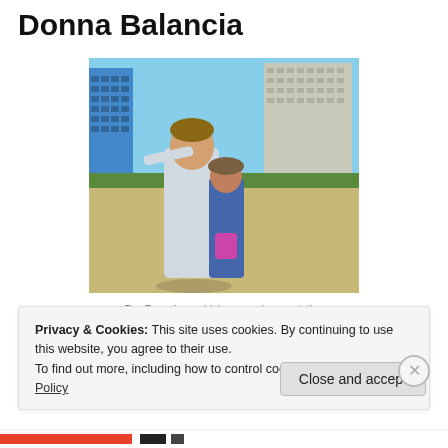Donna Balancia
[Figure (photo): Two people standing on a beach with a large hotel building in the background. A man in a light shirt stands in the foreground, and a woman in a denim jacket stands behind him.]
Dr. Beach and his crew inspect the beach.
Privacy & Cookies: This site uses cookies. By continuing to use this website, you agree to their use.
To find out more, including how to control cookies, see here: Cookie Policy
Close and accept